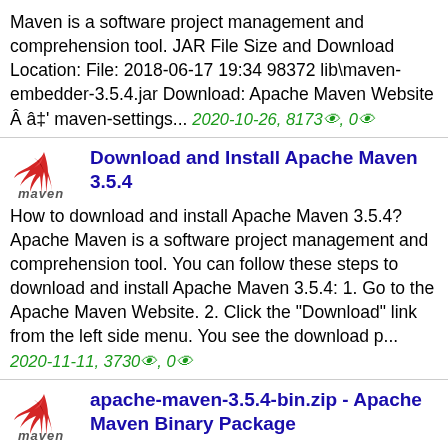Maven is a software project management and comprehension tool. JAR File Size and Download Location: File: 2018-06-17 19:34 98372 lib\maven-embedder-3.5.4.jar Download: Apache Maven Website Â â‡' maven-settings... 2020-10-26, 8173⊙, 0⊙
[Figure (logo): Apache Maven feather logo with 'maven' text]
Download and Install Apache Maven 3.5.4
How to download and install Apache Maven 3.5.4? Apache Maven is a software project management and comprehension tool. You can follow these steps to download and install Apache Maven 3.5.4: 1. Go to the Apache Maven Website. 2. Click the "Download" link from the left side menu. You see the download p... 2020-11-11, 3730⊙, 0⊙
[Figure (logo): Apache Maven feather logo with 'maven' text]
apache-maven-3.5.4-bin.zip - Apache Maven Binary Package